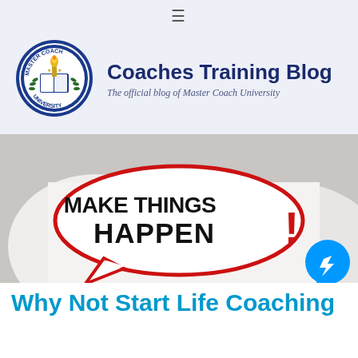≡
[Figure (logo): Master Coach University circular badge logo in blue and white with torch and laurel wreath]
Coaches Training Blog
The official blog of Master Coach University
[Figure (photo): Person in white shirt holding a speech bubble sign that reads MAKE THINGS HAPPEN! with red exclamation mark]
Why Not Start Life Coaching